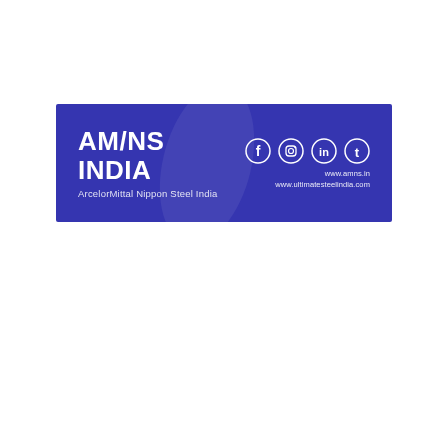[Figure (logo): AM/NS India (ArcelorMittal Nippon Steel India) company header banner in blue/purple with logo on left, social media icons (Facebook, Instagram, LinkedIn, Tumblr) and website URLs (www.amns.in, www.ultimatesteelindia.com) on the right.]